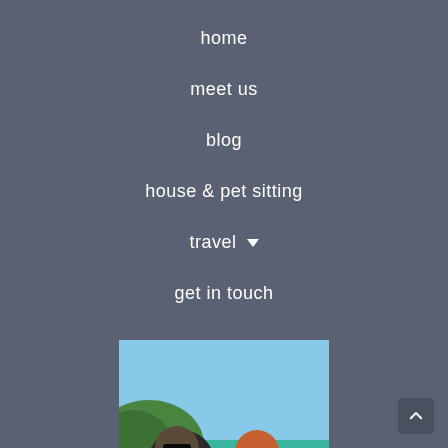home
meet us
blog
house & pet sitting
travel ▼
get in touch
[Figure (photo): Two people wearing sunglasses smiling outdoors near turquoise water with green hills in the background]
[Figure (other): Scroll to top button with upward chevron arrow]